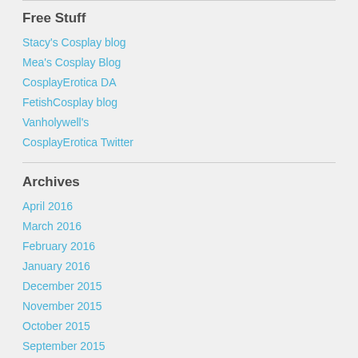Free Stuff
Stacy's Cosplay blog
Mea's Cosplay Blog
CosplayErotica DA
FetishCosplay blog
Vanholywell's
CosplayErotica Twitter
Archives
April 2016
March 2016
February 2016
January 2016
December 2015
November 2015
October 2015
September 2015
Tags